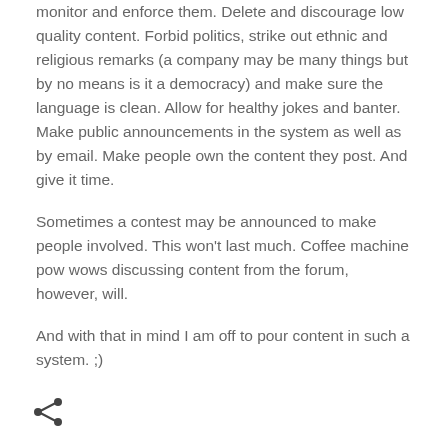monitor and enforce them. Delete and discourage low quality content. Forbid politics, strike out ethnic and religious remarks (a company may be many things but by no means is it a democracy) and make sure the language is clean. Allow for healthy jokes and banter. Make public announcements in the system as well as by email. Make people own the content they post. And give it time.
Sometimes a contest may be announced to make people involved. This won't last much. Coffee machine pow wows discussing content from the forum, however, will.
And with that in mind I am off to pour content in such a system. ;)
[Figure (illustration): Share icon (less-than symbol / network share icon) in dark gray at the bottom left of the page]